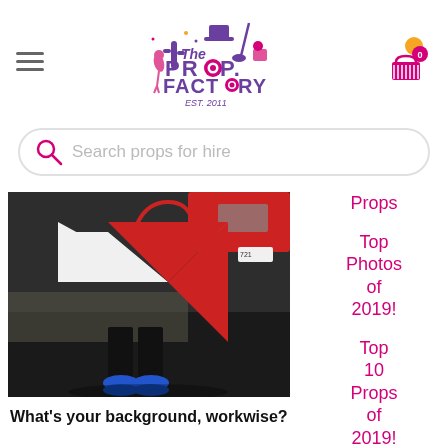[Figure (logo): The Prop Factory logo - EST. 2011, colorful illustration with flamingo, cactus, top hat and other props in purple and pink text]
[Figure (screenshot): Search bar with pink magnifying glass icon and placeholder text 'Search props for hire']
[Figure (photo): Person holding a large red and white geometric kite/diamond shaped prop on a driveway, photographed from waist down showing blue sneakers]
What's your background, workwise?
Props
Top Photos of 2019!
Top 10 Props of 2019!